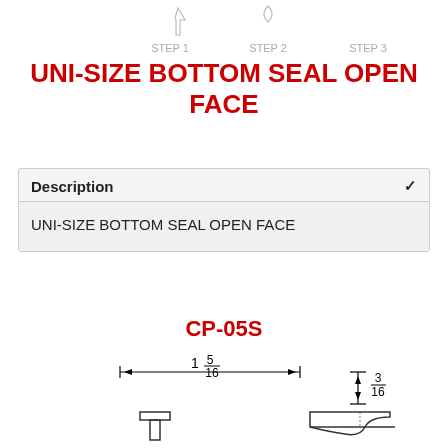[Figure (schematic): Three installation steps: STEP 1, STEP 2, STEP 3 shown with icons/arrows at the top of the page]
UNI-SIZE BOTTOM SEAL OPEN FACE
| Description |  |
| --- | --- |
| UNI-SIZE BOTTOM SEAL OPEN FACE |  |
CP-05S
[Figure (engineering-diagram): Engineering cross-section dimension diagram showing width of 1 5/16 and height/depth of 3/16 with dimension lines and a profile shape]